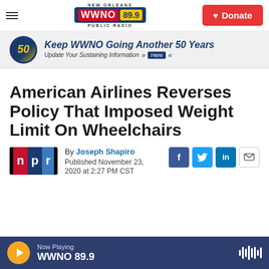WWNO 89.9 NEW ORLEANS PUBLIC RADIO — Donate
[Figure (screenshot): WWNO 89.9 New Orleans Public Radio logo with hamburger menu and red Donate button]
[Figure (infographic): Banner ad: Keep WWNO Going Another 50 Years — Update Your Sustaining Information >> Here]
American Airlines Reverses Policy That Imposed Weight Limit On Wheelchairs
By Joseph Shapiro
Published November 23, 2020 at 2:27 PM CST
[Figure (logo): NPR logo]
Now Playing WWNO 89.9